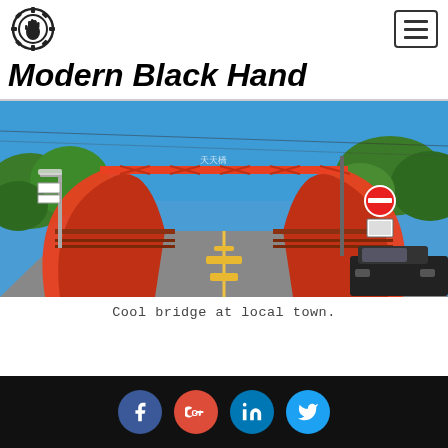Modern Black Hand
[Figure (photo): A red arch truss bridge photographed from the road surface driving under it, with blue sky, green trees, road signs, a parked black car, and a street lamp visible. The bridge structure is bright red/orange metal.]
Cool bridge at local town.
Social media icons: Facebook, Google+, LinkedIn, Twitter